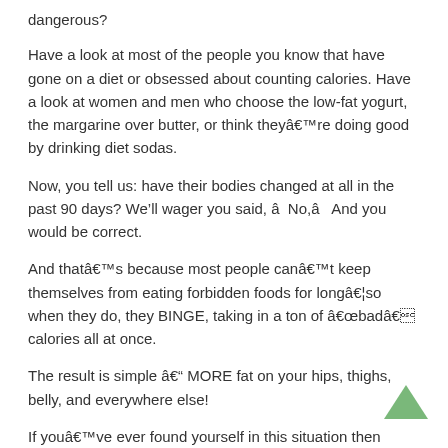dangerous?
Have a look at most of the people you know that have gone on a diet or obsessed about counting calories. Have a look at women and men who choose the low-fat yogurt, the margarine over butter, or think theyâre doing good by drinking diet sodas.
Now, you tell us: have their bodies changed at all in the past 90 days? We’ll wager you said, âNo,â And you would be correct.
And thatâs because most people canât keep themselves from eating forbidden foods for longâ¦so when they do, they BINGE, taking in a ton of âbadâ calories all at once.
The result is simple â MORE fat on your hips, thighs, belly, and everywhere else!
If youâve ever found yourself in this situation then